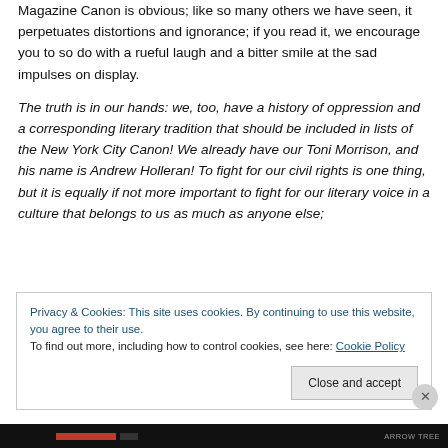Magazine Canon is obvious; like so many others we have seen, it perpetuates distortions and ignorance; if you read it, we encourage you to so do with a rueful laugh and a bitter smile at the sad impulses on display.
The truth is in our hands: we, too, have a history of oppression and a corresponding literary tradition that should be included in lists of the New York City Canon! We already have our Toni Morrison, and his name is Andrew Holleran! To fight for our civil rights is one thing, but it is equally if not more important to fight for our literary voice in a culture that belongs to us as much as anyone else;
Privacy & Cookies: This site uses cookies. By continuing to use this website, you agree to their use.
To find out more, including how to control cookies, see here: Cookie Policy
Close and accept